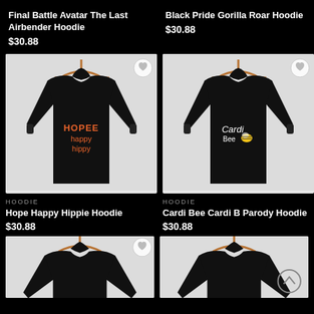Final Battle Avatar The Last Airbender Hoodie
$30.88
Black Pride Gorilla Roar Hoodie
$30.88
[Figure (photo): Black hoodie on wooden hanger with orange 'HOPEE happy hippy' text graphic]
HOODIE
Hope Happy Hippie Hoodie
$30.88
[Figure (photo): Black hoodie on wooden hanger with 'Cardi Bee' text and yellow bee graphic]
HOODIE
Cardi Bee Cardi B Parody Hoodie
$30.88
[Figure (photo): Partial view of black hoodie on wooden hanger, bottom of page]
[Figure (photo): Partial view of black hoodie on wooden hanger, bottom of page right]